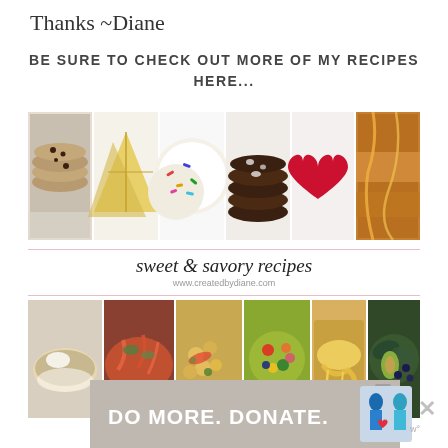Thanks ~Diane
BE SURE TO CHECK OUT MORE OF MY RECIPES HERE...
[Figure (photo): Collage of sweet food photos: cookies with chocolate chips, yellow triangular pastries, frosted sugar cookies with sprinkles, chocolate crinkle cookies, red heart-shaped candy, caramel drizzle dessert]
sweet & savory recipes
www.createdbydiane.com
[Figure (photo): Collage of savory food photos: rice or grain bowl, pasta with red sauce, spiral pasta salad, mixed salad with colorful toppings, cheesy casserole, kale salad with avocado]
[Figure (photo): Advertisement banner: DO MORE. DONATE. with illustrated figures of people]